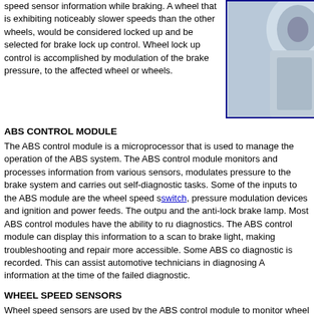speed sensor information while braking. A wheel that is exhibiting noticeably slower speeds than the other wheels, would be considered locked up and be selected for brake lock up control. Wheel lock up control is accomplished by modulation of the brake pressure, to the affected wheel or wheels.
[Figure (photo): Partial image of a vehicle wheel/brake assembly component, shown against a blue-bordered background.]
ABS CONTROL MODULE
The ABS control module is a microprocessor that is used to manage the operation of the ABS system. The ABS control module monitors and processes information from various sensors, modulates pressure to the brake system and carries out self-diagnostic tasks. Some of the inputs to the ABS module are the wheel speed sensors, brake switch, pressure modulation devices and ignition and power feeds. The outputs include the pump motor and the anti-lock brake lamp. Most ABS control modules have the ability to run on-board diagnostics. The ABS control module can display this information to a scan tool or via the brake light, making troubleshooting and repair more accessible. Some ABS control modules record when a diagnostic is recorded. This can assist automotive technicians in diagnosing ABS faults using information at the time of the failed diagnostic.
WHEEL SPEED SENSORS
Wheel speed sensors are used by the ABS control module to monitor wheel lockup. They are mounted on the wheel hub or axle shaft, so as to rotate when the wheel is in motion, and held at a calibrated distance from the toothed wheel. The air gap between the toothed wheel and the sensor is .060 in (refer to your auto repair book for the exact spec). When the tooth wheel rotates, an AC voltage is produced. The AC voltage output of the wheel speed sensor increases as the wheel speed increases. ABS uses this voltage to calculate wheel speed for ABS operation. If the ABS control module...